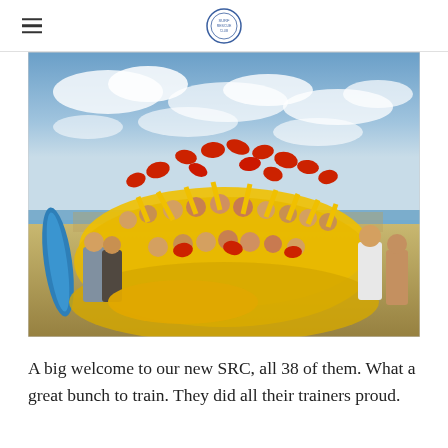[Navigation header with hamburger menu and circular logo]
[Figure (photo): Group photo of approximately 38 people in yellow surf rescue uniforms (SRC — Surf Rescue Certificate recipients) throwing red caps into the air on a beach setting with a blue surfboard visible on the left side and ocean in the background under a cloudy sky.]
A big welcome to our new SRC, all 38 of them. What a great bunch to train. They did all their trainers proud.